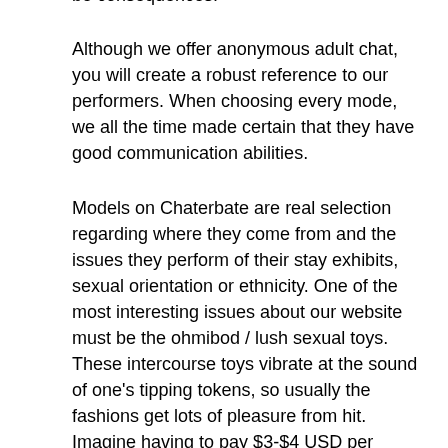be consequences.
Although we offer anonymous adult chat, you will create a robust reference to our performers. When choosing every mode, we all the time made certain that they have good communication abilities.
Models on Chaterbate are real selection regarding where they come from and the issues they perform of their stay exhibits, sexual orientation or ethnicity. One of the most interesting issues about our website must be the ohmibod / lush sexual toys. These intercourse toys vibrate at the sound of one's tipping tokens, so usually the fashions get lots of pleasure from hit. Imagine having to pay $3-$4 USD per minute for such a present, it will simply value $one hundred for simply 25 minutes. That's barely sufficient time to do something, particularly if you want to know extra concerning the model you might be chatting with. The prices had been extraordinarily high and to